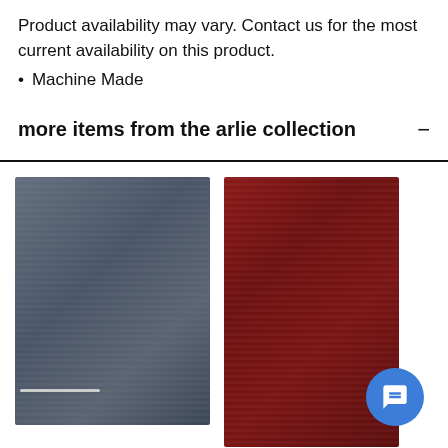Product availability may vary. Contact us for the most current availability on this product.
Machine Made
more items from the arlie collection
[Figure (photo): Dark blue/charcoal textured rug product image]
[Figure (photo): Dark red/burgundy textured rug product image, partially cropped at right edge]